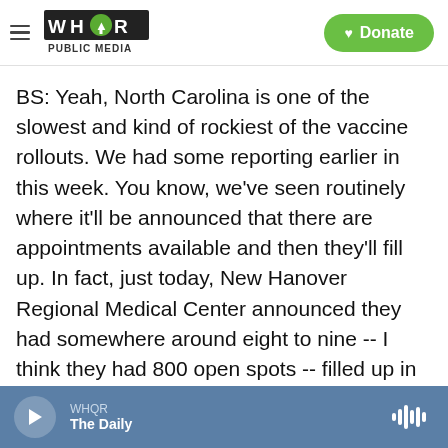WHQR PUBLIC MEDIA | Donate
BS: Yeah, North Carolina is one of the slowest and kind of rockiest of the vaccine rollouts. We had some reporting earlier in this week. You know, we've seen routinely where it'll be announced that there are appointments available and then they'll fill up. In fact, just today, New Hanover Regional Medical Center announced they had somewhere around eight to nine -- I think they had 800 open spots -- filled up in 15 minutes. So, it's still tough. Local health officials say they hear these frustrations, they acknowledge them, and they're just asking people to be as patient as possible.
WHQR The Daily